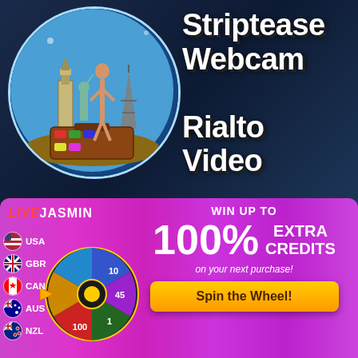[Figure (illustration): Circular badge with webcam striptease branding, showing world landmarks and a figure, labeled 'Webcam Striptease']
Striptease Webcam Rialto Video
[Figure (infographic): LiveJasmin promotional banner with a spin wheel showing country flags (USA, GBR, CAN, AUS, NZL) and wheel segments with numbers 10, 45, 1, 100. Text: WIN UP TO 100% EXTRA CREDITS on your next purchase! Spin the Wheel!]